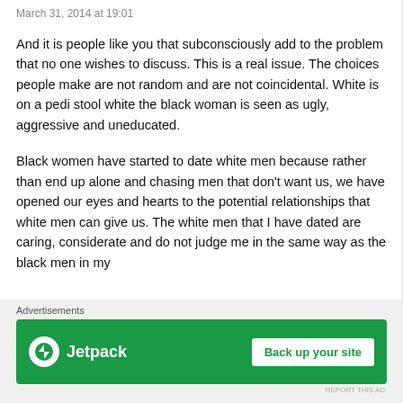March 31, 2014 at 19:01
And it is people like you that subconsciously add to the problem that no one wishes to discuss. This is a real issue. The choices people make are not random and are not coincidental. White is on a pedi stool white the black woman is seen as ugly, aggressive and uneducated.
Black women have started to date white men because rather than end up alone and chasing men that don't want us, we have opened our eyes and hearts to the potential relationships that white men can give us. The white men that I have dated are caring, considerate and do not judge me in the same way as the black men in my
Advertisements
[Figure (screenshot): Jetpack advertisement banner with green background, Jetpack logo on left and 'Back up your site' button on right]